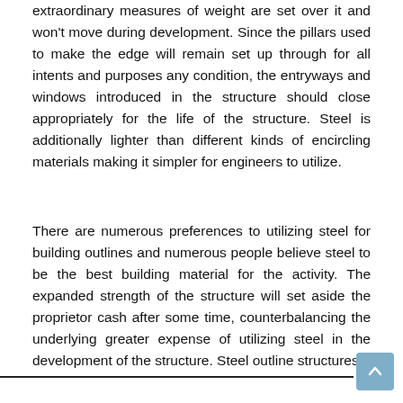extraordinary measures of weight are set over it and won't move during development. Since the pillars used to make the edge will remain set up through for all intents and purposes any condition, the entryways and windows introduced in the structure should close appropriately for the life of the structure. Steel is additionally lighter than different kinds of encircling materials making it simpler for engineers to utilize.
There are numerous preferences to utilizing steel for building outlines and numerous people believe steel to be the best building material for the activity. The expanded strength of the structure will set aside the proprietor cash after some time, counterbalancing the underlying greater expense of utilizing steel in the development of the structure. Steel outline structures.